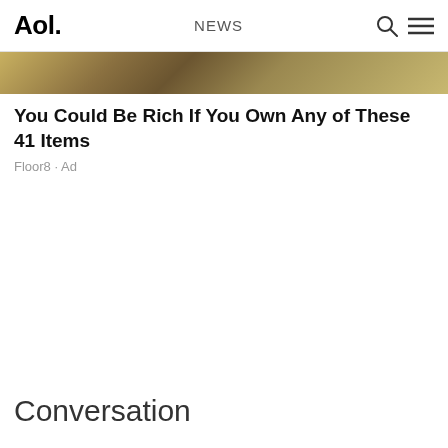Aol. NEWS
[Figure (photo): Partial image strip showing a blurred/cropped photo with golden/brown tones at the top of an article card]
You Could Be Rich If You Own Any of These 41 Items
Floor8 · Ad
Conversation